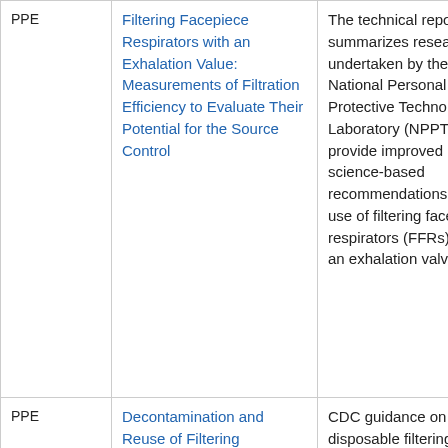| Category | Title/Resource | Description |
| --- | --- | --- |
| PPE | Filtering Facepiece Respirators with an Exhalation Value: Measurements of Filtration Efficiency to Evaluate Their Potential for the Source Control | The technical report summarizes research undertaken by the National Personal Protective Technology Laboratory (NPPTL) to provide improved science-based recommendations on the use of filtering facepieces respirators (FFRs) with an exhalation valve. |
| PPE | Decontamination and Reuse of Filtering Facepiece Respirators (FFRs) | CDC guidance on disposable filtering facepiece respirators decontamination and reuse as standard of care. |